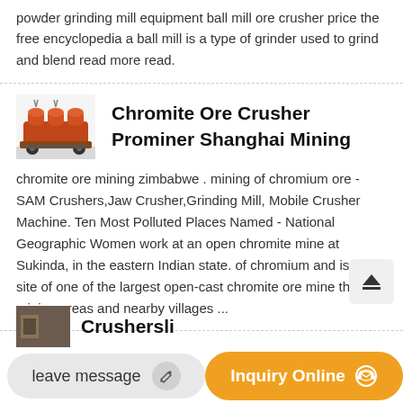powder grinding mill equipment ball mill ore crusher price the free encyclopedia a ball mill is a type of grinder used to grind and blend read more read.
[Figure (photo): Orange industrial tank/container equipment on wheels, resembling a chromite ore crusher machine.]
Chromite Ore Crusher Prominer Shanghai Mining
chromite ore mining zimbabwe . mining of chromium ore - SAM Crushers,Jaw Crusher,Grinding Mill, Mobile Crusher Machine. Ten Most Polluted Places Named - National Geographic Women work at an open chromite mine at Sukinda, in the eastern Indian state. of chromium and is the site of one of the largest open-cast chromite ore mine the mining areas and nearby villages ...
leave message
Inquiry Online
Crushersli